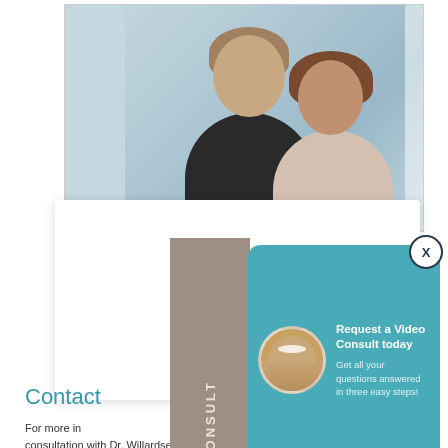[Figure (screenshot): Dental website page screenshot showing a popup overlay with 'Request a Video Consult today' promotional card on a teal background with a smiling female photo, a 'VIRTUAL CONSULT' vertical sidebar label in taupe, and a contact section below with text about scheduling a consultation with Dr. Willardsen and a link to 'contact True Dentistry'.]
Contact
For more information about the options for schedule a consultation with Dr. Willardsen, please contact True Dentistry today.